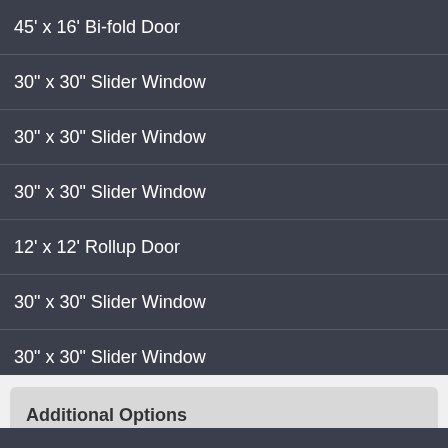| Item |
| --- |
| 45' x 16' Bi-fold Door |
| 30" x 30" Slider Window |
| 30" x 30" Slider Window |
| 30" x 30" Slider Window |
| 12' x 12' Rollup Door |
| 30" x 30" Slider Window |
| 30" x 30" Slider Window |
| 30" x 30" Slider Window |
| 3' x 7' Walk-in Door |
| 30" x 30" Slider Window |
| 30" x 30" Slider Window |
| 30" x 30" Slider Window |
Additional Options